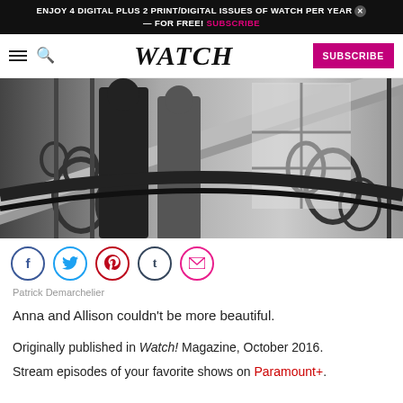ENJOY 4 DIGITAL PLUS 2 PRINT/DIGITAL ISSUES OF WATCH PER YEAR — FOR FREE! SUBSCRIBE
WATCH
[Figure (photo): Black and white photo of two people on an ornate staircase with decorative ironwork railing and stained glass window in background]
Patrick Demarchelier
Anna and Allison couldn't be more beautiful.
Originally published in Watch! Magazine, October 2016.
Stream episodes of your favorite shows on Paramount+.